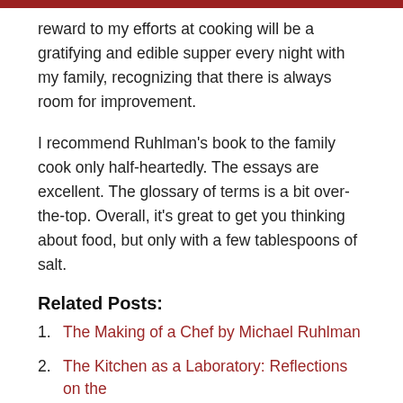reward to my efforts at cooking will be a gratifying and edible supper every night with my family, recognizing that there is always room for improvement.
I recommend Ruhlman's book to the family cook only half-heartedly. The essays are excellent. The glossary of terms is a bit over-the-top. Overall, it's great to get you thinking about food, but only with a few tablespoons of salt.
Related Posts:
1. The Making of a Chef by Michael Ruhlman
2. The Kitchen as a Laboratory: Reflections on the